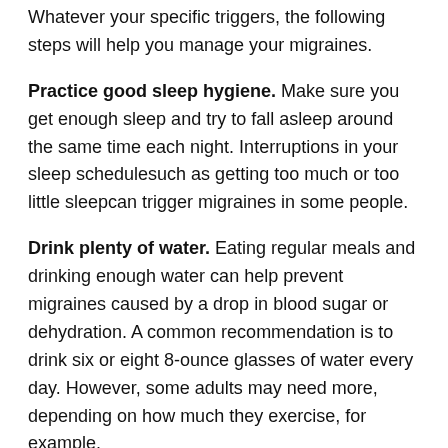Whatever your specific triggers, the following steps will help you manage your migraines.
Practice good sleep hygiene. Make sure you get enough sleep and try to fall asleep around the same time each night. Interruptions in your sleep schedulesuch as getting too much or too little sleepcan trigger migraines in some people.
Drink plenty of water. Eating regular meals and drinking enough water can help prevent migraines caused by a drop in blood sugar or dehydration. A common recommendation is to drink six or eight 8-ounce glasses of water every day. However, some adults may need more, depending on how much they exercise, for example.
Be careful with coffee. Although caffeine can provide migraine relief , too much can cause migraines. Caffeine can be found in chocolate and cocoa; beverages such as coffee,